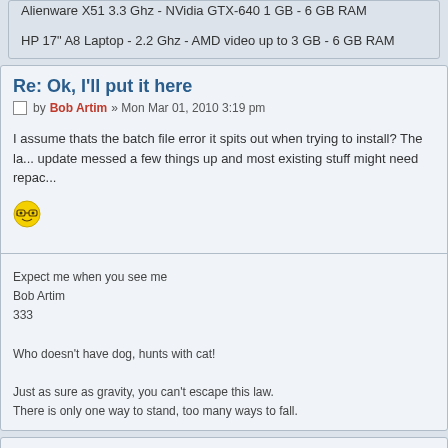Alienware X51 3.3 Ghz - NVidia GTX-640 1 GB - 6 GB RAM
HP 17" A8 Laptop - 2.2 Ghz - AMD video up to 3 GB - 6 GB RAM
Re: Ok, I'll put it here
by Bob Artim » Mon Mar 01, 2010 3:19 pm
I assume thats the batch file error it spits out when trying to install? The la... update messed a few things up and most existing stuff might need repac...
Expect me when you see me
Bob Artim
333

Who doesn't have dog, hunts with cat!

Just as sure as gravity, you can't escape this law.
There is only one way to stand, too many ways to fall.
Re: Ok, I'll put it here
by Jim Moeller » Mon Mar 01, 2010 6:38 pm
Ok, I can deal with that - just wanted to make sure there wasn't a loose...